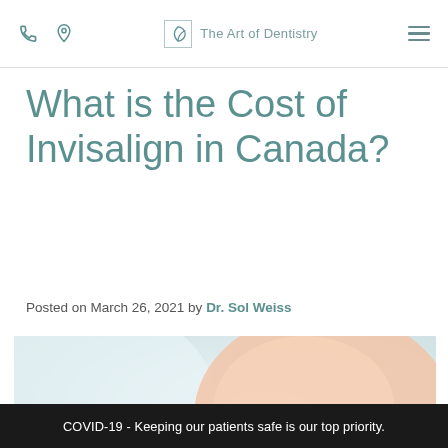The Art of Dentistry
What is the Cost of Invisalign in Canada?
Posted on March 26, 2021 by Dr. Sol Weiss
[Figure (photo): Close-up of a smiling woman holding a clear dental aligner/Invisalign tray near her mouth]
COVID-19 - Keeping our patients safe is our top priority.